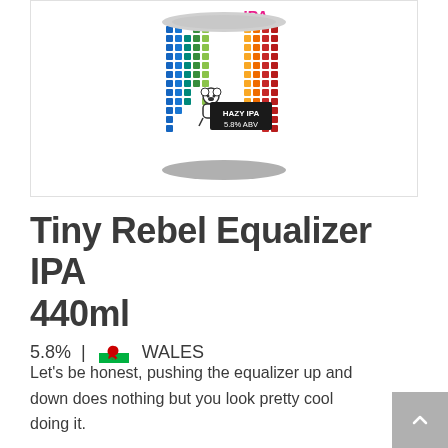[Figure (photo): A can of Tiny Rebel Equalizer Hazy IPA with a rainbow pixel/dot pattern equalizer design and a cartoon bear character. The can label reads 'HAZY IPA 5.8% ABV'.]
Tiny Rebel Equalizer IPA 440ml
5.8% | 🏴󠁧󠁢󠁷󠁬󠁳󠁿 WALES
Let's be honest, pushing the equalizer up and down does nothing but you look pretty cool doing it.